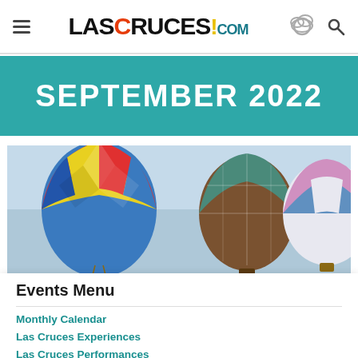LASCRUCES.com navigation bar
SEPTEMBER 2022
[Figure (photo): Hot air balloons rising against a clear blue sky — colorful striped balloons visible including blue/yellow/red, brown/teal patterned, and pink/blue/white patterned balloons]
Events Menu
Monthly Calendar
Las Cruces Experiences
Las Cruces Performances
Las Cruces Exhibitions